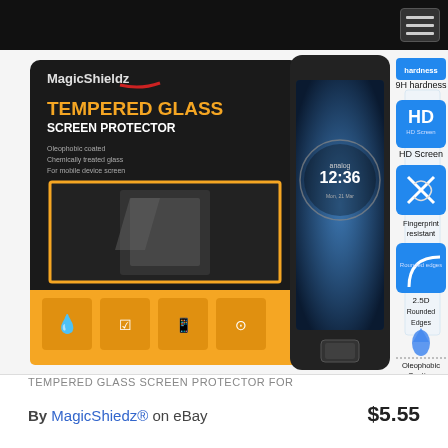[Figure (photo): Product photo of MagicShieldz Tempered Glass Screen Protector packaging alongside a Motorola smartphone showing 12:36 on the screen, with feature icons on the right: 9H hardness, HD Screen, Fingerprint resistant, 2.5D Rounded Edges, Oleophobic Coating]
TEMPERED GLASS SCREEN PROTECTOR FOR
By MagicShiedz® on eBay
$5.55